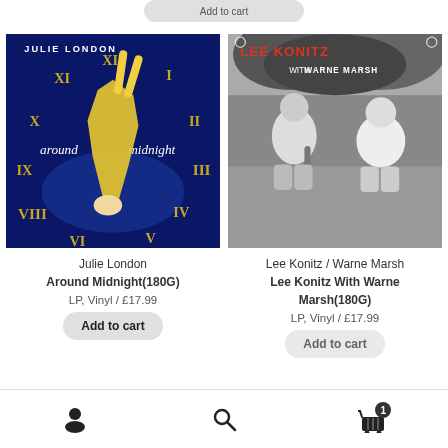[Figure (screenshot): Truncated 'Add to cart' button at top of page]
[Figure (photo): Julie London - Around Midnight album cover: dark blue background with woman in yellow dress upside down and roman numeral clock face]
[Figure (photo): Lee Konitz / Warne Marsh album cover: black and white photo of two men sitting outdoors]
Julie London
Around Midnight(180G)
LP, Vinyl / £17.99
Lee Konitz / Warne Marsh
Lee Konitz With Warne Marsh(180G)
LP, Vinyl / £17.99
Add to cart
[Figure (screenshot): Bottom navigation bar with user icon, search icon, and cart icon with badge showing 1]